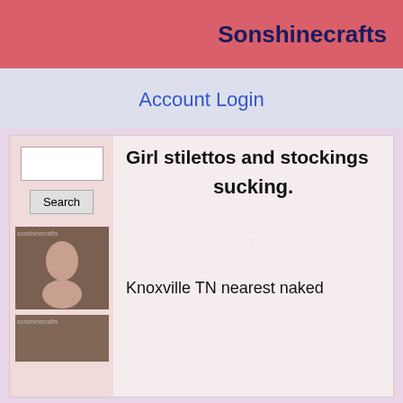Sonshinecrafts
Account Login
Girl stilettos and stockings sucking.
[Figure (photo): Sidebar thumbnail image placeholder (sonshinecrafts branded)]
[Figure (photo): Sidebar thumbnail image placeholder 2 (sonshinecrafts branded)]
Knoxville TN nearest naked